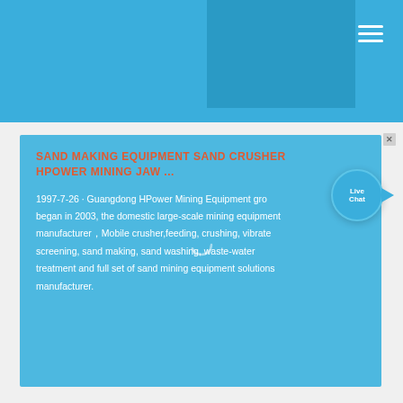[Figure (screenshot): Website header with blue background and hamburger menu icon in top right corner]
SAND MAKING EQUIPMENT SAND CRUSHER HPOWER MINING JAW ...
1997-7-26 · Guangdong HPower Mining Equipment group began in 2003, the domestic large-scale mining equipment manufacturer，Mobile crusher,feeding, crushing, vibrate screening, sand making, sand washing, waste-water treatment and full set of sand mining equipment solutions manufacturer.